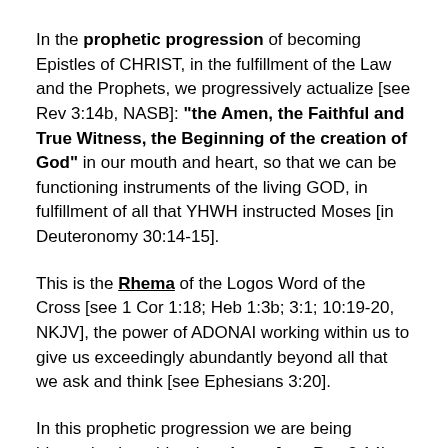In the prophetic progression of becoming Epistles of CHRIST, in the fulfillment of the Law and the Prophets, we progressively actualize [see Rev 3:14b, NASB]: "the Amen, the Faithful and True Witness, the Beginning of the creation of God" in our mouth and heart, so that we can be functioning instruments of the living GOD, in fulfillment of all that YHWH instructed Moses [in Deuteronomy 30:14-15].
This is the Rhema of the Logos Word of the Cross [see 1 Cor 1:18; Heb 1:3b; 3:1; 10:19-20, NKJV], the power of ADONAI working within us to give us exceedingly abundantly beyond all that we ask and think [see Ephesians 3:20].
In this prophetic progression we are being blessed to be a blessing. Amen [see Rev 3:14b, NASB]!